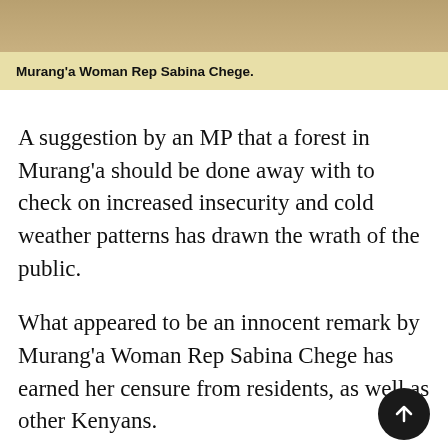[Figure (photo): Photo strip at top of page showing Murang'a Woman Rep Sabina Chege, partially visible]
Murang'a Woman Rep Sabina Chege.
A suggestion by an MP that a forest in Murang'a should be done away with to check on increased insecurity and cold weather patterns has drawn the wrath of the public.
What appeared to be an innocent remark by Murang'a Woman Rep Sabina Chege has earned her censure from residents, as well as other Kenyans.
After touring her county on Thursday, Chege took on the Kenya Tea Development Agency